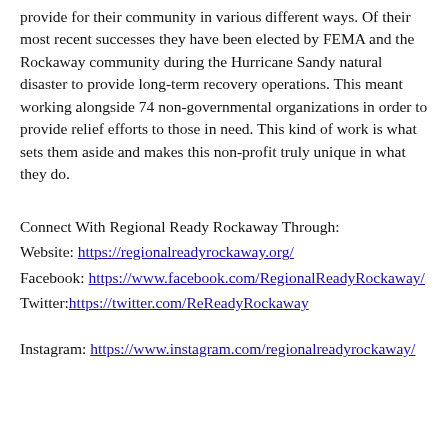provide for their community in various different ways. Of their most recent successes they have been elected by FEMA and the Rockaway community during the Hurricane Sandy natural disaster to provide long-term recovery operations. This meant working alongside 74 non-governmental organizations in order to provide relief efforts to those in need. This kind of work is what sets them aside and makes this non-profit truly unique in what they do.
Connect With Regional Ready Rockaway Through:
Website: https://regionalreadyrockaway.org/
Facebook: https://www.facebook.com/RegionalReadyRockaway/
Twitter: https://twitter.com/ReReadyRockaway
Instagram: https://www.instagram.com/regionalreadyrockaway/